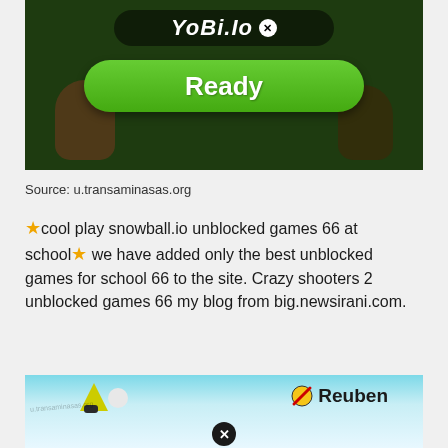[Figure (screenshot): Screenshot of a game lobby screen with dark green background, showing 'YOBI.IO' title in white bold text in a dark rounded bar, a green 'Ready' button, and a character blob at the bottom]
Source: u.transaminasas.org
★cool play snowball.io unblocked games 66 at school★ we have added only the best unblocked games for school 66 to the site. Crazy shooters 2 unblocked games 66 my blog from big.newsirani.com.
[Figure (screenshot): Screenshot of snowball.io game showing a light blue/white icy background with characters on snowboards, a 'Reuben' player label with a black strikethrough icon, and a black X close button at the bottom]